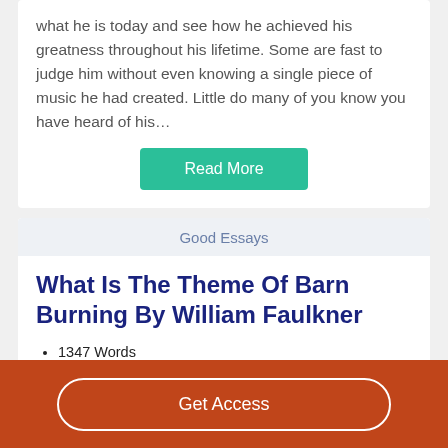what he is today and see how he achieved his greatness throughout his lifetime. Some are fast to judge him without even knowing a single piece of music he had created. Little do many of you know you have heard of his…
Read More
Good Essays
What Is The Theme Of Barn Burning By William Faulkner
1347 Words
6 Pages
Get Access